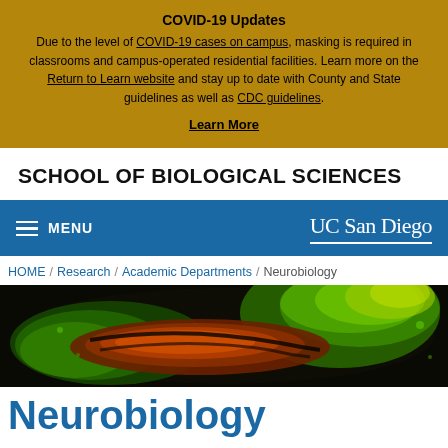COVID-19 Updates
Due to the level of COVID-19 cases on campus, masking is required in classrooms and campus-operated residential facilities. Learn more on the Return to Learn website and stay up to date with County and State guidelines as well as CDC guidelines.
Learn More
SCHOOL OF BIOLOGICAL SCIENCES
MENU | UC San Diego
HOME / Research / Academic Departments / Neurobiology
[Figure (photo): Fluorescence microscopy image of a brain section showing hippocampus with green and red/orange fluorescent staining against dark background]
Neurobiology